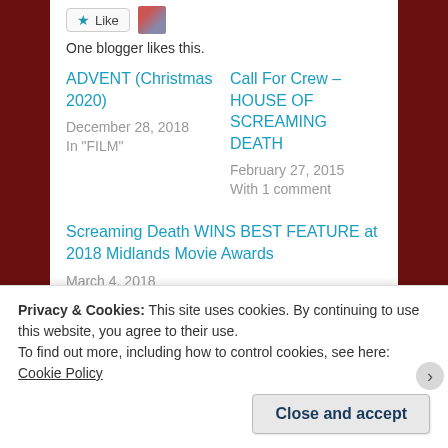One blogger likes this.
ADVENT (Christmas 2020)
December 28, 2018
In "FILM"
Call For Crew – HOUSE OF SCREAMING DEATH
February 27, 2015
With 1 comment
Screaming Death WINS BEST FEATURE at 2018 Midlands Movie Awards
March 4, 2018
Privacy & Cookies: This site uses cookies. By continuing to use this website, you agree to their use.
To find out more, including how to control cookies, see here: Cookie Policy
Close and accept